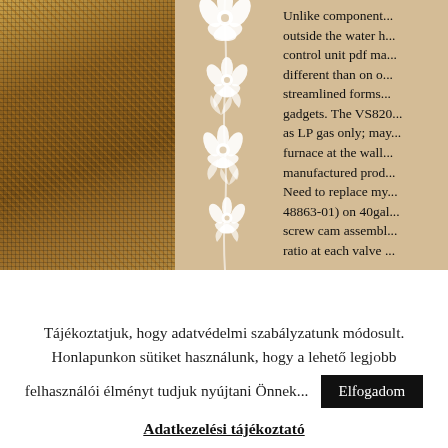[Figure (photo): Left portion: close-up photo of burlap/hessian fabric texture in brown/tan tones. Middle portion: beige background with white floral vine/botanical ornament design running vertically.]
Unlike component... outside the water h... control unit pdf ma... different than on o... streamlined forms... gadgets. The VS820... as LP gas only; may... furnace at the wall... manufactured prod... Need to replace my... 48863-01) on 40gal... screw cam assembl... ratio at each valve...
Tájékoztatjuk, hogy adatvédelmi szabályzatunk módosult. Honlapunkon sütiket használunk, hogy a lehető legjobb felhasználói élményt tudjuk nyújtani Önnek...
Elfogadom
Adatkezelési tájékoztató